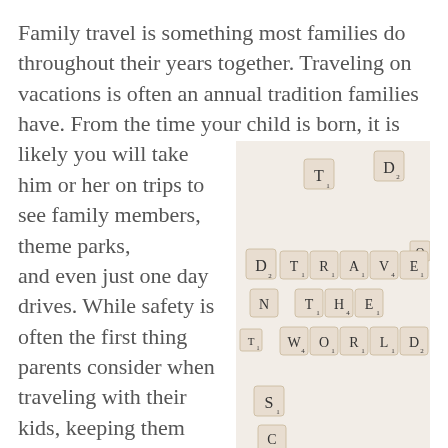Family travel is something most families do throughout their years together. Traveling on vacations is often an annual tradition families have. From the time your child is born, it is likely you will take him or her on trips to see family members, theme parks, and even just one day drives. While safety is often the first thing parents consider when traveling with their kids, keeping them happy and busy along the way also adds to the
[Figure (photo): Scrabble tiles arranged on a light background spelling out TRAVEL THE WORLD, with scattered individual letter tiles (T, D, N, O, S) around them.]